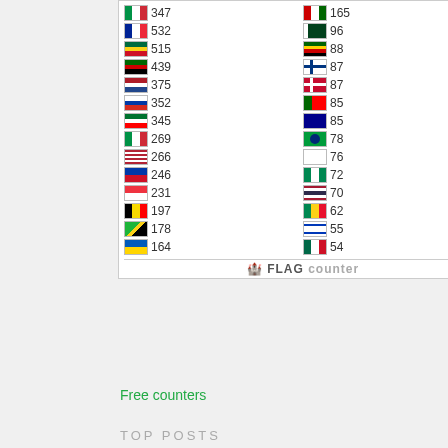[Figure (screenshot): Flag Counter widget showing country flags with visitor counts in two columns. Left column: Italy 347, France 532, Ghana 515, Kenya 439, Netherlands 375, Russia 352, UAE 345, Italy 269, USA 266, Philippines 246, Singapore 231, Belgium 197, Tanzania 178, Ukraine 164. Right column: (country) 165, Pakistan 96, Zimbabwe 88, Finland 87, Denmark 87, Portugal 85, Australia 85, Brazil 78, South Korea 76, Nigeria 72, Thailand 70, Benin 62, Israel 55, Mexico 54. FLAG counter logo at bottom.]
Free counters
TOP POSTS
[Figure (illustration): Tony the Tiger mascot (Kellogg's Frosted Flakes) on blue background giving thumbs up, with text GRRREAT! at the bottom]